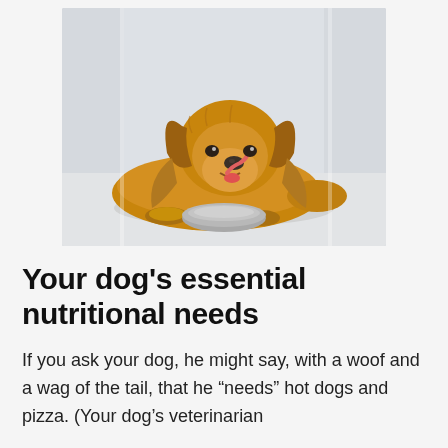[Figure (photo): A golden retriever dog lying on a light floor near a sliding door, with a gray food bowl in front of it. The dog is looking at the camera with its tongue out, licking its lips.]
Your dog’s essential nutritional needs
If you ask your dog, he might say, with a woof and a wag of the tail, that he “needs” hot dogs and pizza. (Your dog’s veterinarian